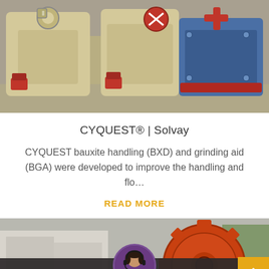[Figure (photo): Industrial grinding machines (beige/cream colored) with red valve fittings, and a blue machine on the right, outdoors on a concrete surface.]
CYQUEST® | Solvay
CYQUEST bauxite handling (BXD) and grinding aid (BGA) were developed to improve the handling and flo…
READ MORE
[Figure (photo): Close-up of large orange industrial gear/wheel mechanism outdoors, with a chat bar overlay at the bottom showing 'Leave Message' and 'Chat Online' with a customer service avatar.]